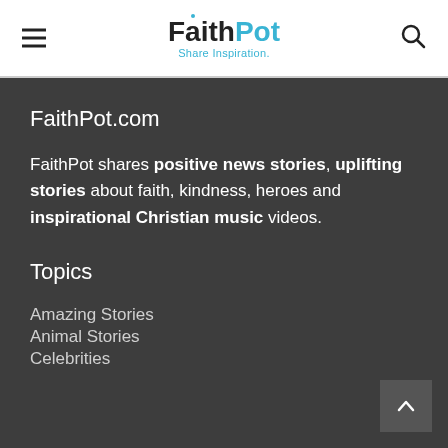FaithPot — Share Inspiration
FaithPot.com
FaithPot shares positive news stories, uplifting stories about faith, kindness, heroes and inspirational Christian music videos.
Topics
Amazing Stories
Animal Stories
Celebrities